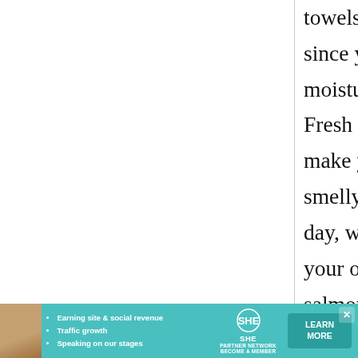towels (not plastic, since you want some moisture to evaporate. Fresh fish will not make your fridge smelly btw.) The next day, when you make your onigiri, grill the salmon and flake to make the filling.

Umeboshi and katsuobushi (dried
[Figure (photo): Advertisement banner for SHE Partner Network featuring a woman with long hair, bullet points about earning site & social revenue, traffic growth, speaking on our stages, the SHE logo, and a LEARN MORE button.]